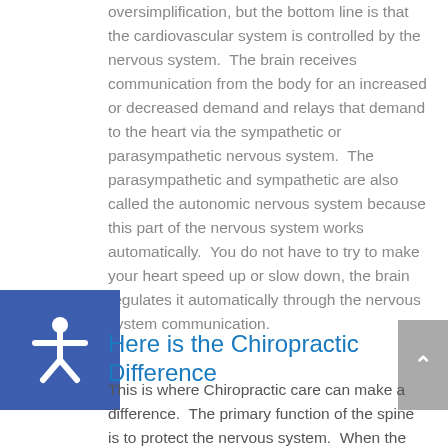oversimplification, but the bottom line is that the cardiovascular system is controlled by the nervous system.  The brain receives communication from the body for an increased or decreased demand and relays that demand to the heart via the sympathetic or parasympathetic nervous system.  The parasympathetic and sympathetic are also called the autonomic nervous system because this part of the nervous system works automatically.  You do not have to try to make your heart speed up or slow down, the brain regulates it automatically through the nervous system communication.
Here is the Chiropractic Difference
This is where Chiropractic care can make a difference.  The primary function of the spine is to protect the nervous system.  When the spine gets misaligned by an injury or stress it can cause interference in nervous system communication.  This area of misalignment is